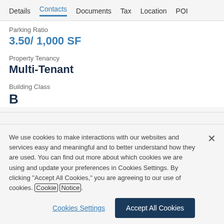Details  Contacts  Documents  Tax  Location  POI
Parking Ratio
3.50/ 1,000 SF
Property Tenancy
Multi-Tenant
Building Class
B
We use cookies to make interactions with our websites and services easy and meaningful and to better understand how they are used. You can find out more about which cookies we are using and update your preferences in Cookies Settings. By clicking "Accept All Cookies," you are agreeing to our use of cookies. Cookie Notice.
Cookies Settings
Accept All Cookies